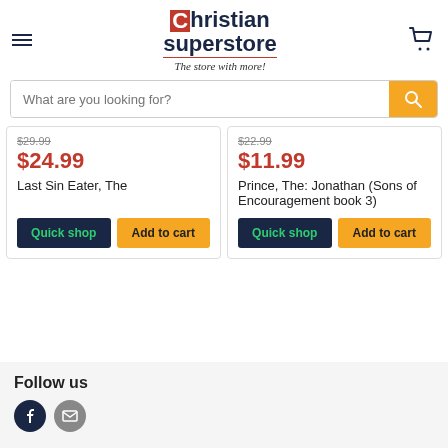[Figure (logo): Christian Superstore logo with red C box, dark blue text, tagline 'The store with more!']
What are you looking for?
$29.99
$24.99
Last Sin Eater, The
$22.99
$11.99
Prince, The: Jonathan (Sons of Encouragement book 3)
Follow us